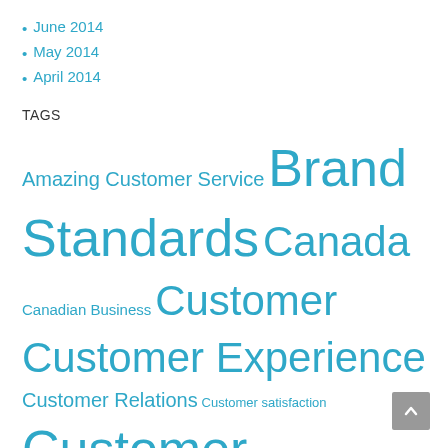June 2014
May 2014
April 2014
TAGS
Amazing Customer Service Brand Standards Canada Canadian Business Customer Customer Experience Customer Relations Customer satisfaction Customer Service Excellent Customer Service Experience Explore the World Family Activities in Toronto Family Activity Family Event Family Vacation Food Foodie Local Business Mystery Shop